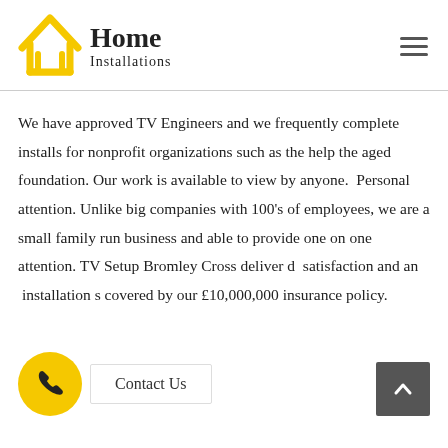[Figure (logo): Home Installations logo with yellow house outline icon and company name text]
We have approved TV Engineers and we frequently complete installs for nonprofit organizations such as the help the aged foundation. Our work is available to view by anyone.  Personal attention. Unlike big companies with 100's of employees, we are a small family run business and able to provide one on one attention. TV Setup Bromley Cross deliver d satisfaction and an installation s covered by our £10,000,000 insurance policy.